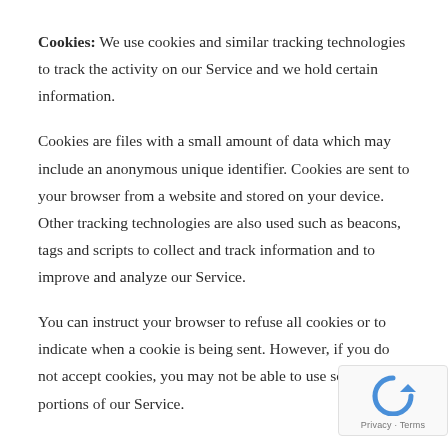Cookies: We use cookies and similar tracking technologies to track the activity on our Service and we hold certain information.
Cookies are files with a small amount of data which may include an anonymous unique identifier. Cookies are sent to your browser from a website and stored on your device. Other tracking technologies are also used such as beacons, tags and scripts to collect and track information and to improve and analyze our Service.
You can instruct your browser to refuse all cookies or to indicate when a cookie is being sent. However, if you do not accept cookies, you may not be able to use some portions of our Service.
[Figure (logo): reCAPTCHA badge with spinning arrow logo and Privacy - Terms text]